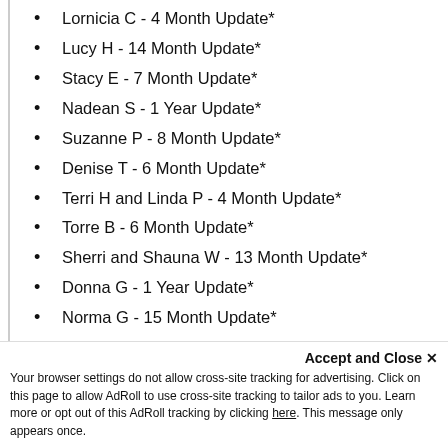Lornicia C - 4 Month Update*
Lucy H - 14 Month Update*
Stacy E - 7 Month Update*
Nadean S - 1 Year Update*
Suzanne P - 8 Month Update*
Denise T - 6 Month Update*
Terri H and Linda P - 4 Month Update*
Torre B - 6 Month Update*
Sherri and Shauna W - 13 Month Update*
Donna G - 1 Year Update*
Norma G - 15 Month Update*
Ashley L - 9 Month Update*
Pam B - 18 Month Update*
Mike F - 4 Year Update*
Karina S - 4 Month Update*
John W - 6 Month Update*
John B - 10 Month Update*
Hope B - 1 Year Update*
Accept and Close ✕
Your browser settings do not allow cross-site tracking for advertising. Click on this page to allow AdRoll to use cross-site tracking to tailor ads to you. Learn more or opt out of this AdRoll tracking by clicking here. This message only appears once.